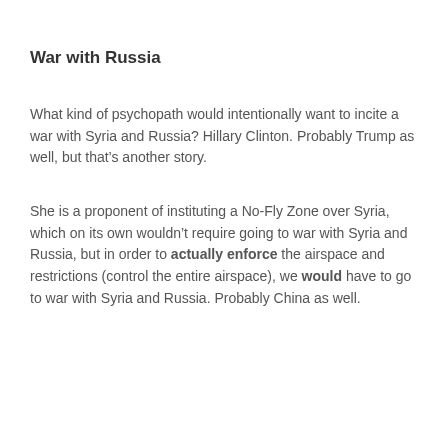War with Russia
What kind of psychopath would intentionally want to incite a war with Syria and Russia? Hillary Clinton. Probably Trump as well, but that’s another story.
She is a proponent of instituting a No-Fly Zone over Syria, which on its own wouldn’t require going to war with Syria and Russia, but in order to actually enforce the airspace and restrictions (control the entire airspace), we would have to go to war with Syria and Russia. Probably China as well.